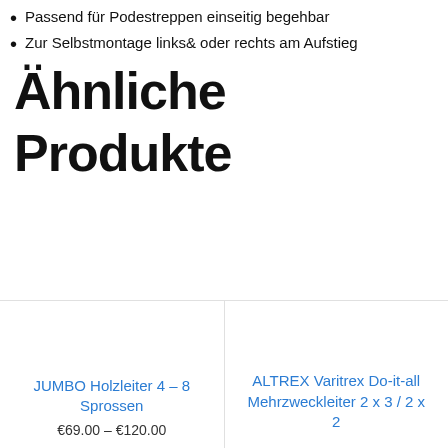Passend für Podestreppen einseitig begehbar
Zur Selbstmontage links& oder rechts am Aufstieg
Ähnliche Produkte
JUMBO Holzleiter 4 – 8 Sprossen
€69.00 – €120.00
ALTREX Varitrex Do-it-all Mehrzweckleiter 2 x 3 / 2 x 2